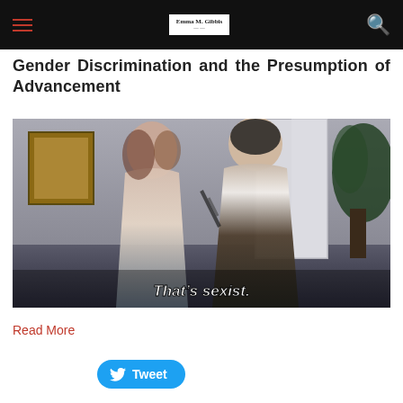Navigation header with hamburger menu, site logo, and search icon
Gender Discrimination and the Presumption of Advancement
[Figure (photo): A woman in vintage dress holding a man's tie, with subtitle text 'That's sexist.' overlaid at the bottom of the image.]
Read More
Tweet